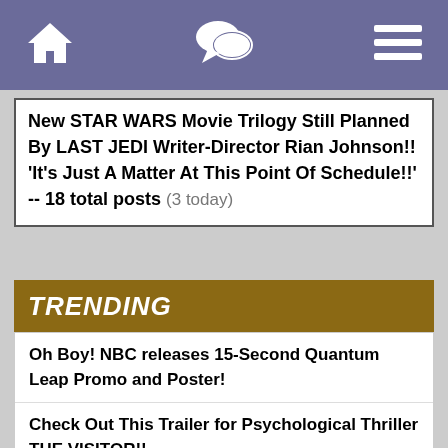Navigation bar with home, chat, and menu icons
New STAR WARS Movie Trilogy Still Planned By LAST JEDI Writer-Director Rian Johnson!! 'It's Just A Matter At This Point Of Schedule!!' -- 18 total posts (3 today)
TRENDING
Oh Boy! NBC releases 15-Second Quantum Leap Promo and Poster!
Check Out This Trailer for Psychological Thriller THE VISITOR!!
The CW Drops a New Trailer for THE WINCHESTERS!!!
Paramount Releases the first CONFESS,FLETCH Trailer!!